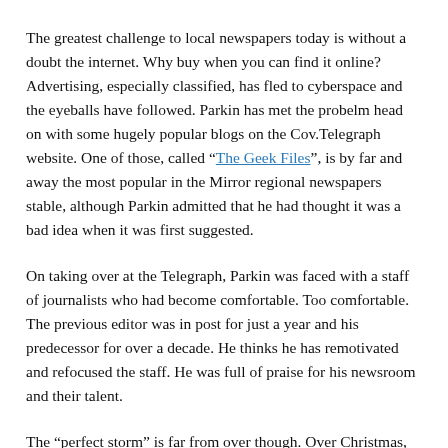The greatest challenge to local newspapers today is without a doubt the internet. Why buy when you can find it online? Advertising, especially classified, has fled to cyberspace and the eyeballs have followed. Parkin has met the probelm head on with some hugely popular blogs on the Cov.Telegraph website. One of those, called “The Geek Files”, is by far and away the most popular in the Mirror regional newspapers stable, although Parkin admitted that he had thought it was a bad idea when it was first suggested.
On taking over at the Telegraph, Parkin was faced with a staff of journalists who had become comfortable. Too comfortable. The previous editor was in post for just a year and his predecessor for over a decade. He thinks he has remotivated and refocused the staff. He was full of praise for his newsroom and their talent.
The “perfect storm” is far from over though. Over Christmas,